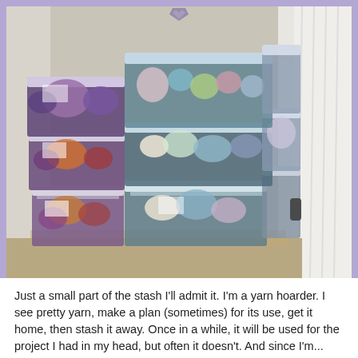[Figure (photo): A large stack of clear plastic storage bins filled with colorful yarn skeins, arranged in a corner near a window with white curtains. The bins have white lids and contain yarn in various colors including purple, teal, orange, blue, and more.]
Just a small part of the stash I'll admit it. I'm a yarn hoarder. I see pretty yarn, make a plan (sometimes) for its use, get it home, then stash it away. Once in a while, it will be used for the project I had in my head, but often it doesn't. And since I'm...